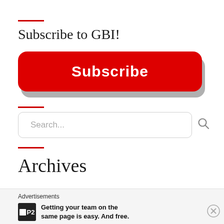Subscribe to GBI!
[Figure (other): Red rounded Subscribe button with gray shadow]
Search...
Archives
Advertisements
Getting your team on the same page is easy. And free.